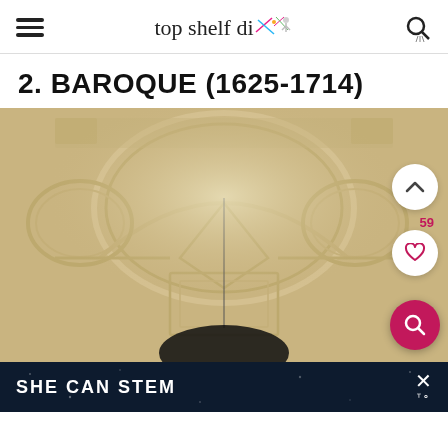top shelf diy
2. BAROQUE (1625-1714)
[Figure (photo): Photograph of an ornate baroque-style ceiling with elaborate plaster moldings, oval medallion frames, and geometric architectural details in cream and white tones. UI overlay elements include a chevron-up button, a 59 like count, a heart/like button, and a pink circular search button on the right side.]
SHE CAN STEM